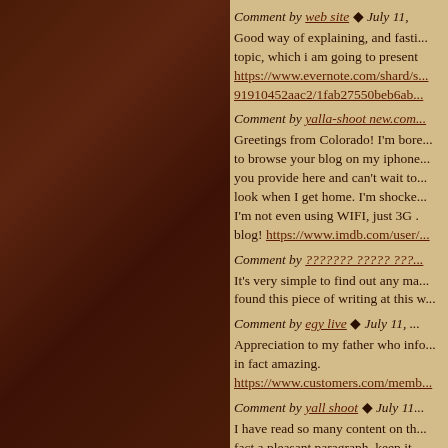Comment by web site ◆ July 11,
Good way of explaining, and fasti... topic, which i am going to present https://www.evernote.com/shard/s... 91910452aac2/1fab27550beb6ab...
Comment by yalla-shoot new.com...
Greetings from Colorado! I'm bore... to browse your blog on my iphone... you provide here and can't wait to... look when I get home. I'm shocke... I'm not even using WIFI, just 3G . blog! https://www.imdb.com/user/...
Comment by ??????? ????? ???...
It's very simple to find out any ma... found this piece of writing at this w...
Comment by egy live ◆ July 11, ...
Appreciation to my father who info... in fact amazing. https://www.customers.com/memb...
Comment by yall shoot ◆ July 11...
I have read so many content on th... fact a pleasant paragraph, keep it...
Comment by ??t nhau ◆ July 11,...
I some time emailed this web...